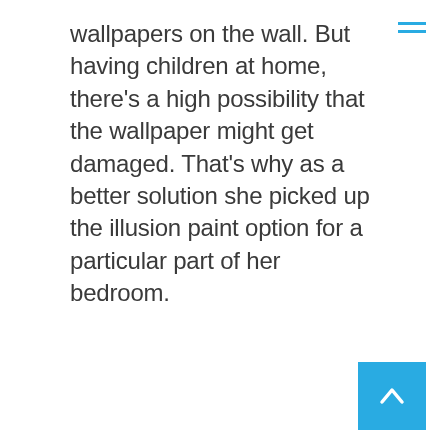wallpapers on the wall. But having children at home, there's a high possibility that the wallpaper might get damaged. That's why as a better solution she picked up the illusion paint option for a particular part of her bedroom.